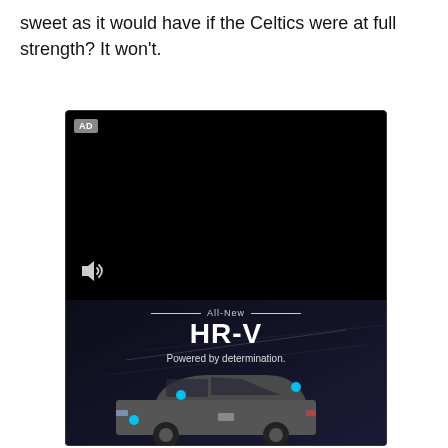sweet as it would have if the Celtics were at full strength? It won't.
[Figure (screenshot): Video advertisement player showing a black screen with an 'AD' badge in the top-left corner and a speaker/volume icon in the bottom-left. Below the video player is a Honda HR-V advertisement showing the text 'All-New HR-V Powered by determination.' with a Honda HR-V car in the lower portion against a dark dynamic background.]